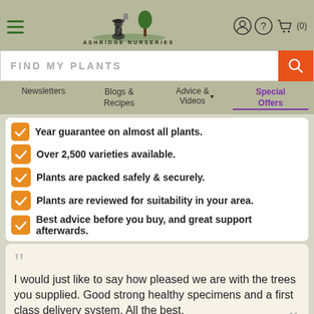[Figure (logo): Ashridge Nurseries logo with gardener silhouette and tree, with hamburger menu and header icons]
FIND MY PLANTS
Newsletters | Blogs & Recipes | Advice & Videos | Special Offers
Year guarantee on almost all plants.
Over 2,500 varieties available.
Plants are packed safely & securely.
Plants are reviewed for suitability in your area.
Best advice before you buy, and great support afterwards.
I would just like to say how pleased we are with the trees you supplied. Good strong healthy specimens and a first class delivery system. All the best,
Ian